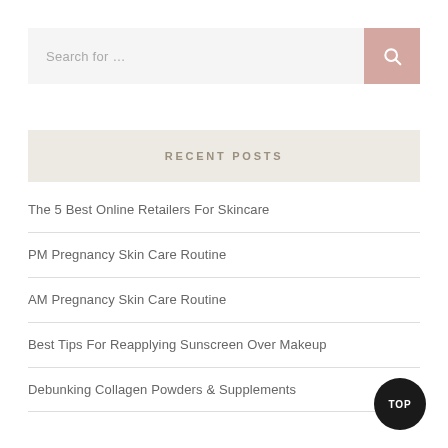Search for …
RECENT POSTS
The 5 Best Online Retailers For Skincare
PM Pregnancy Skin Care Routine
AM Pregnancy Skin Care Routine
Best Tips For Reapplying Sunscreen Over Makeup
Debunking Collagen Powders & Supplements